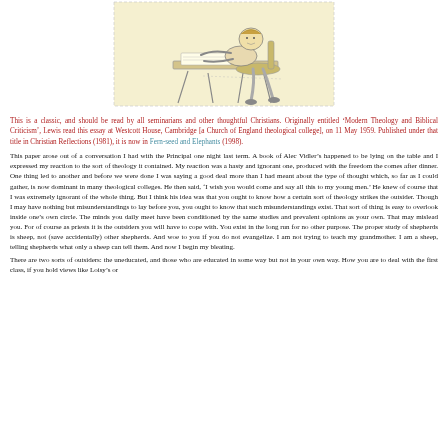[Figure (illustration): Pen-and-ink cartoon of a man seated at a desk, leaning over papers, on a yellow background with dotted border frame.]
This is a classic, and should be read by all seminarians and other thoughtful Christians. Originally entitled ‘Modern Theology and Biblical Criticism’, Lewis read this essay at Westcott House, Cambridge [a Church of England theological college], on 11 May 1959. Published under that title in Christian Reflections (1981), it is now in Fern-seed and Elephants (1998).
This paper arose out of a conversation I had with the Principal one night last term. A book of Alec Vidler’s happened to be lying on the table and I expressed my reaction to the sort of theology it contained. My reaction was a hasty and ignorant one, produced with the freedom the comes after dinner. One thing led to another and before we were done I was saying a good deal more than I had meant about the type of thought which, so far as I could gather, is now dominant in many theological colleges. He then said, ‘I wish you would come and say all this to my young men.’ He knew of course that I was extremely ignorant of the whole thing. But I think his idea was that you ought to know how a certain sort of theology strikes the outsider. Though I may have nothing but misunderstandings to lay before you, you ought to know that such misunderstandings exist. That sort of thing is easy to overlook inside one’s own circle. The minds you daily meet have been conditioned by the same studies and prevalent opinions as your own. That may mislead you. For of course as priests it is the outsiders you will have to cope with. You exist in the long run for no other purpose. The proper study of shepherds is sheep, not (save accidentally) other shepherds. And woe to you if you do not evangelize. I am not trying to teach my grandmother. I am a sheep, telling shepherds what only a sheep can tell them. And now I begin my bleating.
There are two sorts of outsiders: the uneducated, and those who are educated in some way but not in your own way. How you are to deal with the first class, if you hold views like Loisy’s or